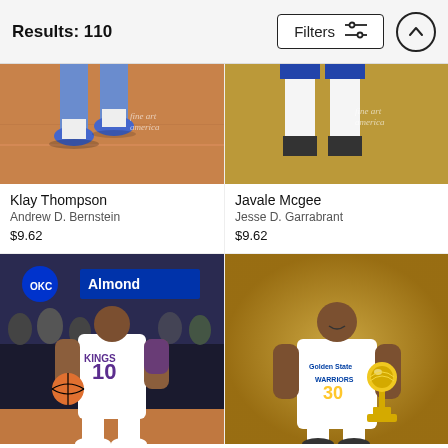Results: 110
[Figure (photo): Cropped basketball photo - Klay Thompson legs/shoes visible, court floor, Fine Art America watermark]
Klay Thompson
Andrew D. Bernstein
$9.62
[Figure (photo): Cropped basketball photo - Javale Mcgee legs/socks visible, golden background, Fine Art America watermark]
Javale Mcgee
Jesse D. Garrabrant
$9.62
[Figure (photo): Sacramento Kings player #10 dribbling basketball, arena crowd background, Almond brand signage]
[Figure (photo): Golden State Warriors player #30 holding Larry O'Brien Championship Trophy, golden/brown background]